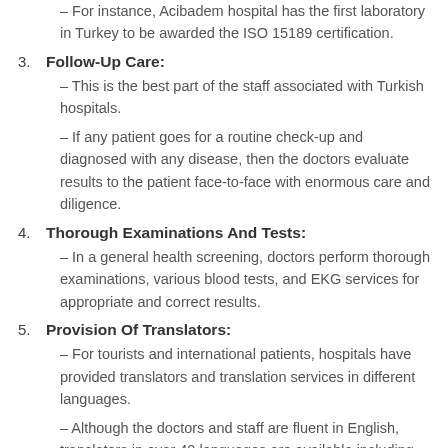– For instance, Acibadem hospital has the first laboratory in Turkey to be awarded the ISO 15189 certification.
3. Follow-Up Care:
– This is the best part of the staff associated with Turkish hospitals.
– If any patient goes for a routine check-up and diagnosed with any disease, then the doctors evaluate results to the patient face-to-face with enormous care and diligence.
4. Thorough Examinations And Tests:
– In a general health screening, doctors perform thorough examinations, various blood tests, and EKG services for appropriate and correct results.
5. Provision Of Translators:
– For tourists and international patients, hospitals have provided translators and translation services in different languages.
– Although the doctors and staff are fluent in English, translators in over 40 languages are available including Arabic,